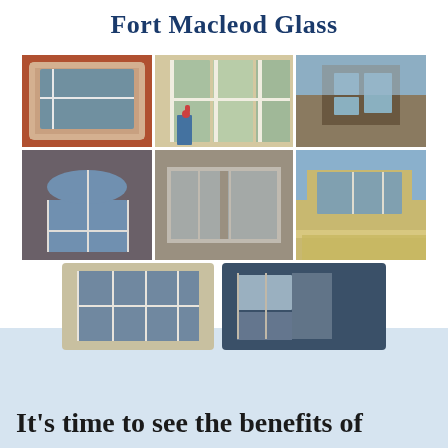Fort Macleod Glass
[Figure (photo): Collage of 8 photos showing various residential window installations by Fort Macleod Glass, including casement windows, bay windows, large picture windows, arched windows, and exterior house views with large glass windows.]
It's time to see the benefits of